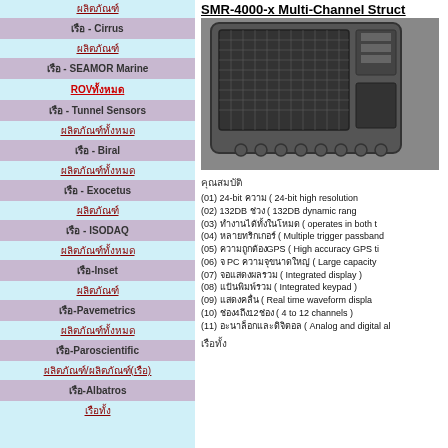ผลิตภัณฑ์
เรือ - Cirrus
ผลิตภัณฑ์
เรือ - SEAMOR Marine
ROVทั้งหมด
เรือ - Tunnel Sensors
ผลิตภัณฑ์ทั้งหมด
เรือ - Biral
ผลิตภัณฑ์ทั้งหมด
เรือ - Exocetus
ผลิตภัณฑ์
เรือ - ISODAQ
ผลิตภัณฑ์ทั้งหมด
เรือ-Inset
ผลิตภัณฑ์
เรือ-Pavemetrics
ผลิตภัณฑ์ทั้งหมด
เรือ-Paroscientific
ผลิตภัณฑ์/ผลิตภัณฑ์(เรือ)
เรือ-Albatros
เรือทั้ง
SMR-4000-x Multi-Channel Struct...
[Figure (photo): Photo of SMR-4000-x multi-channel seismograph hardware unit in a rugged case]
คุณสมบัติ
(01) 24-bit ความ ( 24-bit high resolution
(02) 132DB ช่วง ( 132DB dynamic range
(03) ทำงานได้ทั้งในโหมด ( operates in both t
(04) หลายทริกเกอร์ ( Multiple trigger passband
(05) ความถูกต้องGPS ( High accuracy GPS ti
(06) จ PC ความจุขนาดใหญ่ ( Large capacity
(07) จอแสดงผลรวม ( Integrated display )
(08) แป้นพิมพ์รวม ( Integrated keypad )
(09) แสดงคลื่น ( Real time waveform displa
(10) ช่อง4ถึง12ช่อง ( 4 to 12 channels )
(11) อะนาล็อกและดิจิตอล ( Analog and digital al
เรือทั้ง